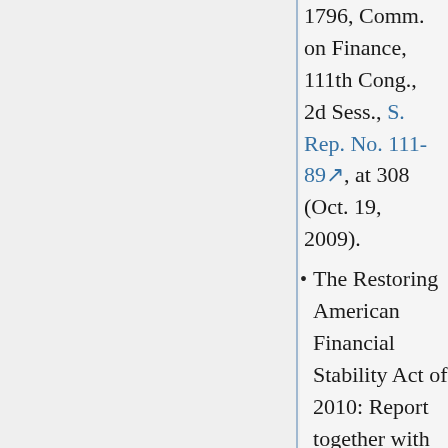1796, Comm. on Finance, 111th Cong., 2d Sess., S. Rep. No. 111-89, at 308 (Oct. 19, 2009).
The Restoring American Financial Stability Act of 2010: Report together with Minority Views to Accompany S. 3217, 111th Cong. 2d Sess.,